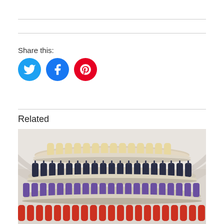Share this:
[Figure (illustration): Three social media icon buttons: Twitter (light blue circle with bird icon), Facebook (blue circle with f icon), Pinterest (red circle with P icon)]
Related
[Figure (photo): Tiered circular display shelf with rows of bottles arranged in layers: top layer with beige/cream bottles, second layer with dark navy bottles with pump tops, third layer with purple bottles, and bottom layer with red/orange bottles. Indoor space with arched ceiling visible in background.]